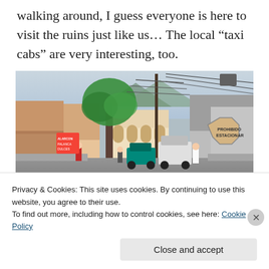walking around, I guess everyone is here to visit the ruins just like us… The local “taxi cabs” are very interesting, too.
[Figure (photo): Street scene in a small Latin American town, with colorful low buildings, a large tree, utility poles with wires, pedestrians, and cars on a cobblestone street. A 'Prohibido Estacionar' (No Parking) sign is visible on the right side.]
Privacy & Cookies: This site uses cookies. By continuing to use this website, you agree to their use.
To find out more, including how to control cookies, see here: Cookie Policy